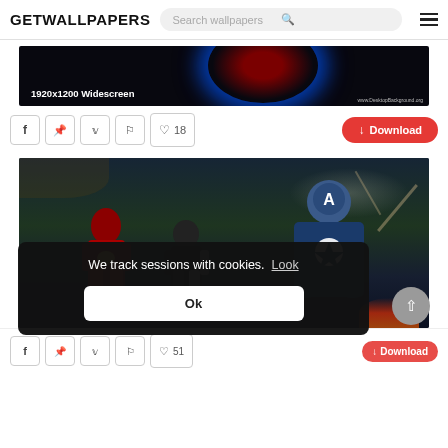GETWALLPAPERS
[Figure (screenshot): Wallpaper preview image showing a dark space scene with a red planet and blue glow ring. Text overlay reads '1920x1200 Widescreen' and watermark 'www.DesktopBackground.org']
1920x1200 Widescreen
[Figure (screenshot): Social sharing buttons: Facebook, Pinterest, Twitter, Bookmark icons, Heart/like button showing 18 likes, and a red Download button]
[Figure (photo): Captain America movie wallpaper showing Iron Man, Winter Soldier, and Captain America in battle scene]
We track sessions with cookies.  Look
Ok
[Figure (screenshot): Partial bottom action bar with social icons, like count 51, and partial Download button]